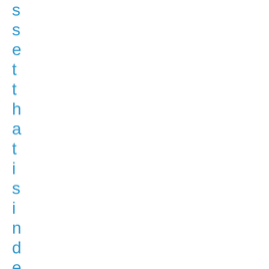s s e t t h a t i s i n d e p e n d e n t f r o m y o u r